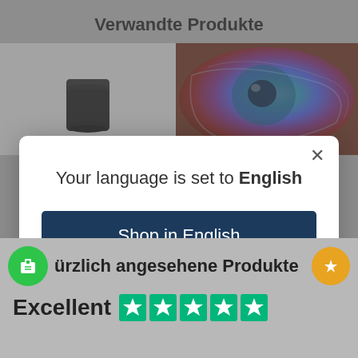Verwandte Produkte
[Figure (photo): Product images showing a black mug on grey background (left) and an iridescent eye/dish in blue/purple tones (right)]
[Figure (screenshot): Modal dialog overlay: 'Your language is set to English' with a 'Shop in English' button and 'Change language' link, and an X close button]
Your language is set to English
Shop in English
Change language
ürzlich angesehene Produkte
Excellent